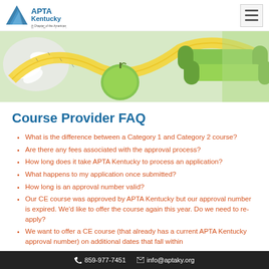APTA Kentucky – A Chapter of the American Physical Therapy Association
[Figure (photo): Hero banner image showing fitness items: green apple, yellow measuring tape, green dumbbells, pills, on a white background.]
Course Provider FAQ
What is the difference between a Category 1 and Category 2 course?
Are there any fees associated with the approval process?
How long does it take APTA Kentucky to process an application?
What happens to my application once submitted?
How long is an approval number valid?
Our CE course was approved by APTA Kentucky but our approval number is expired. We'd like to offer the course again this year. Do we need to re-apply?
We want to offer a CE course (that already has a current APTA Kentucky approval number) on additional dates that fall within
859-977-7451   info@aptaky.org